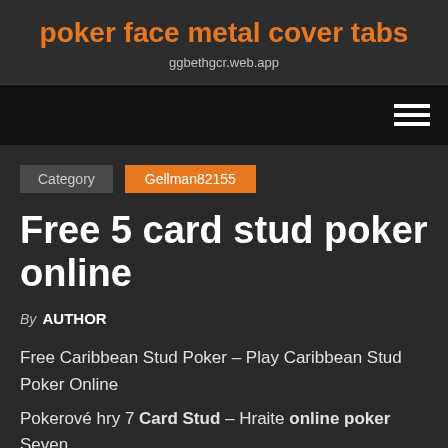poker face metal cover tabs
ggbethgcr.web.app
Category  Gellman82155
Free 5 card stud poker online
By AUTHOR
Free Caribbean Stud Poker – Play Caribbean Stud Poker Online
Pokerové hry 7 Card Stud – Hraite online poker Seven